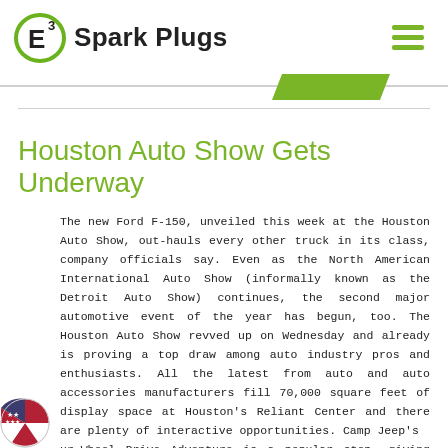E3 Spark Plugs
Houston Auto Show Gets Underway
The new Ford F-150, unveiled this week at the Houston Auto Show, out-hauls every other truck in its class, company officials say. Even as the North American International Auto Show (informally known as the Detroit Auto Show) continues, the second major automotive event of the year has begun, too. The Houston Auto Show revved up on Wednesday and already is proving a top draw among auto industry pros and enthusiasts. All the latest from auto and auto accessories manufacturers fill 70,000 square feet of display space at Houston's Reliant Center and there are plenty of interactive opportunities. Camp Jeep's ur-Wheel Drive Adventure is a popular stop, giving riders an